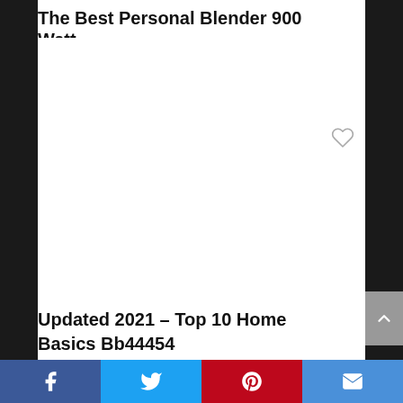The Best Personal Blender 900 Watt
[Figure (other): White image area with heart/favorite icon in top right corner]
Updated 2021 – Top 10 Home Basics Bb44454
Social share bar: Facebook, Twitter, Pinterest, Email